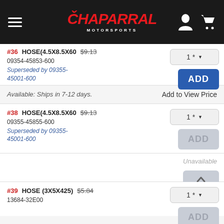Chaparral Motorsports
#36 HOSE(4.5X8.5X60) $9.13
09354-45853-600
Superseded by 09355-45001-600
Available: Ships in 7-12 days.
Add to View Price
#38 HOSE(4.5X8.5X60) $9.13
09355-45855-600
Superseded by 09355-45001-600
Unavailable
#39 HOSE (3X5X425) $5.84
13684-32E00